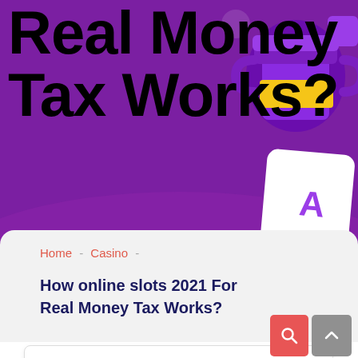[Figure (illustration): Purple hero banner background with casino-themed illustration showing a purple cup/trophy and yellow/golden elements on the right side]
Real Money Tax Works?
Home - Casino -
How online slots 2021 For Real Money Tax Works?